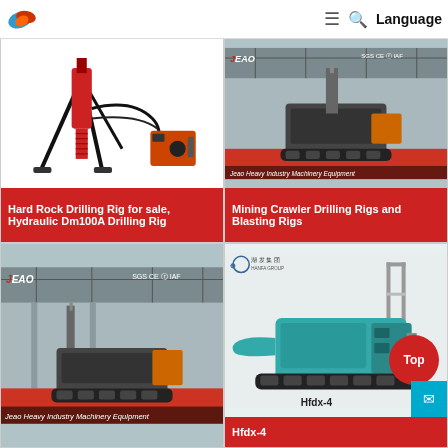JEAO SGS CE Language
[Figure (photo): Hard Rock Drilling Rig - red tripod mounted drill with hydraulic power unit on white background]
Hard Rock Drilling Rig for sale, Hydraulic Dm100A Drilling Rig
[Figure (photo): Mining Crawler Drilling Rig in factory warehouse with JEAO SGS CE IAF certifications logo and Jeao Heavy Industry Machinery Equipment label]
Mining Crawler Drilling Rigs and Blasting Rigs
[Figure (photo): JEAO crawler drilling rig in factory with SGS CE certifications, Jeao Heavy Industry Machinery Equipment label at bottom]
[Figure (photo): Hfdx-4 crawler drilling rig in teal/turquoise color with Hanfa Group logo, with red Top button and blue mail button overlay]
Hfdx-4